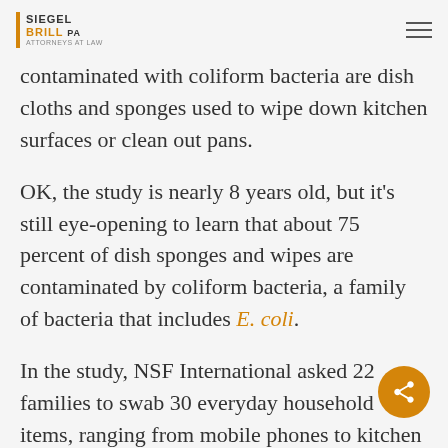SIEGEL BRILL PA
contaminated with coliform bacteria are dish cloths and sponges used to wipe down kitchen surfaces or clean out pans.
OK, the study is nearly 8 years old, but it's still eye-opening to learn that about 75 percent of dish sponges and wipes are contaminated by coliform bacteria, a family of bacteria that includes E. coli.
In the study, NSF International asked 22 families to swab 30 everyday household items, ranging from mobile phones to kitchen and bathroom